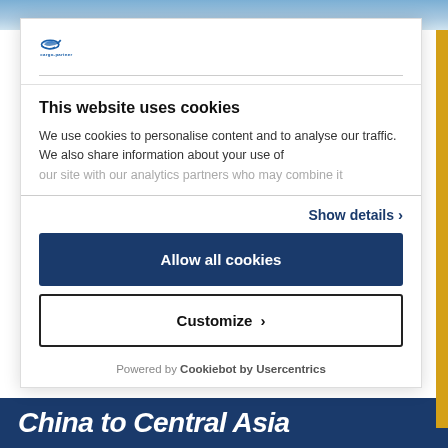[Figure (screenshot): Background image of logistics/freight scene, partially visible at top]
[Figure (logo): cargo-partner company logo with stylized bird/plane icon]
This website uses cookies
We use cookies to personalise content and to analyse our traffic. We also share information about your use of our site with our analytics partners who may combine it
Show details  >
Allow all cookies
Customize  >
Powered by Cookiebot by Usercentrics
China to Central Asia